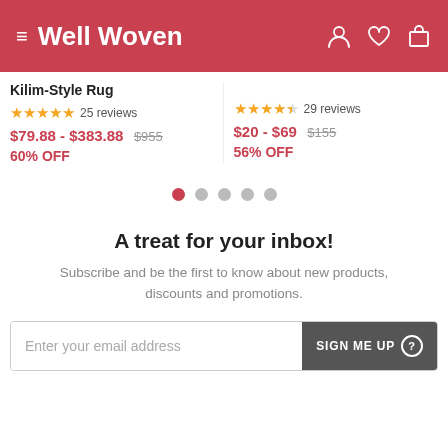Well Woven
Kilim-Style Rug
★★★★★ 25 reviews
$79.88 - $383.88  $955
60% OFF
★★★★½ 29 reviews
$20 - $69  $155
56% OFF
[Figure (other): Pagination dots: 5 dots, first one active (red), rest grey]
A treat for your inbox!
Subscribe and be the first to know about new products, discounts and promotions.
Enter your email address  SIGN ME UP